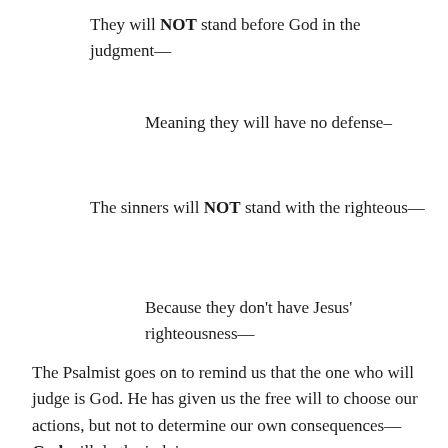They will NOT stand before God in the judgment—
Meaning they will have no defense–
The sinners will NOT stand with the righteous—
Because they don't have Jesus' righteousness—
The Psalmist goes on to remind us that the one who will judge is God. He has given us the free will to choose our actions, but not to determine our own consequences—God will do the judging,